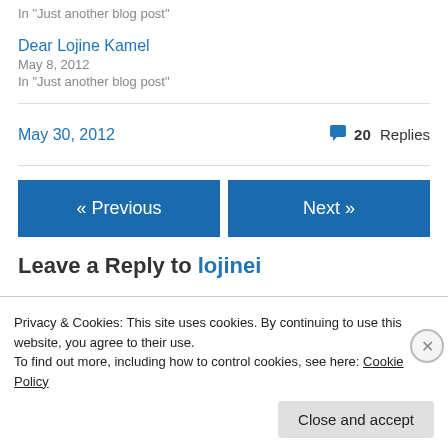In "Just another blog post"
Dear Lojine Kamel
May 8, 2012
In "Just another blog post"
May 30, 2012
20 Replies
« Previous
Next »
Leave a Reply to lojinei
Privacy & Cookies: This site uses cookies. By continuing to use this website, you agree to their use.
To find out more, including how to control cookies, see here: Cookie Policy
Close and accept